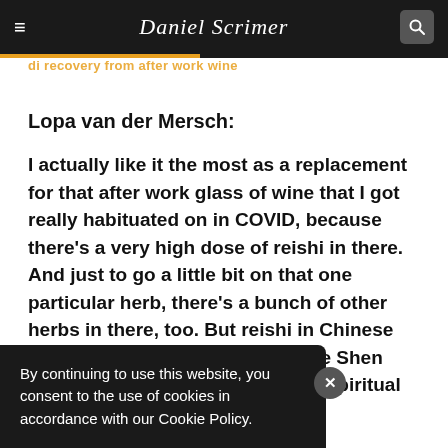Daniel Scrimer
Lopa van der Mersch:
I actually like it the most as a replacement for that after work glass of wine that I got really habituated on in COVID, because there's a very high dose of reishi in there. And just to go a little bit on that one particular herb, there's a bunch of other herbs in there, too. But reishi in Chinese medicine is said to help settle the Shen back into the heart. Shen is your spiritual energy basically.
By continuing to use this website, you consent to the use of cookies in accordance with our Cookie Policy.